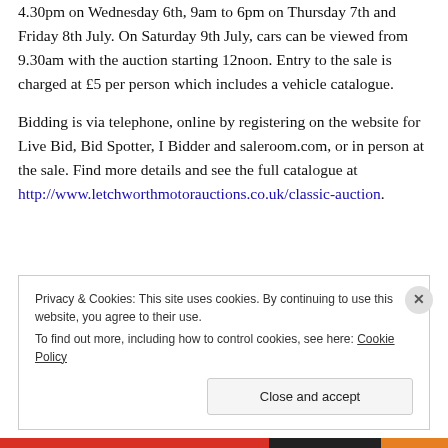4.30pm on Wednesday 6th, 9am to 6pm on Thursday 7th and Friday 8th July. On Saturday 9th July, cars can be viewed from 9.30am with the auction starting 12noon. Entry to the sale is charged at £5 per person which includes a vehicle catalogue.
Bidding is via telephone, online by registering on the website for Live Bid, Bid Spotter, I Bidder and saleroom.com, or in person at the sale. Find more details and see the full catalogue at http://www.letchworthmotorauctions.co.uk/classic-auction.
Privacy & Cookies: This site uses cookies. By continuing to use this website, you agree to their use. To find out more, including how to control cookies, see here: Cookie Policy
Close and accept